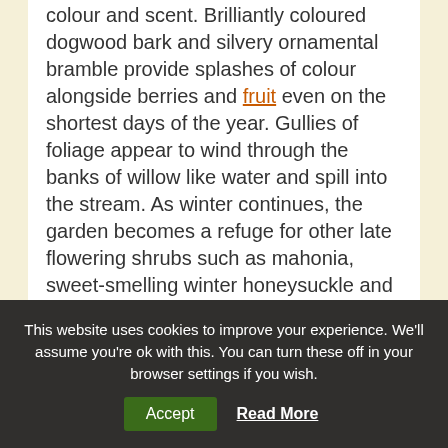colour and scent. Brilliantly coloured dogwood bark and silvery ornamental bramble provide splashes of colour alongside berries and fruit even on the shortest days of the year. Gullies of foliage appear to wind through the banks of willow like water and spill into the stream. As winter continues, the garden becomes a refuge for other late flowering shrubs such as mahonia, sweet-smelling winter honeysuckle and daphne.
www.nationaltrust.org.uk/mottisfont
This website uses cookies to improve your experience. We'll assume you're ok with this. You can turn these off in your browser settings if you wish.